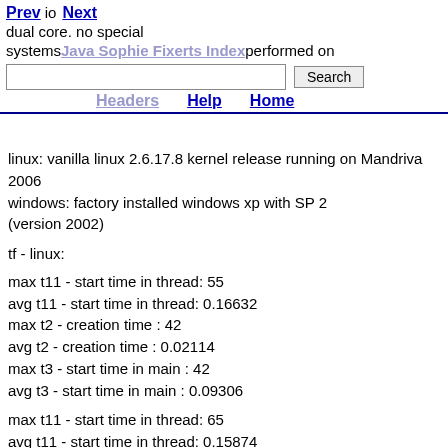The machine: T41 ultra boot Thinkpad T60 with Intel dual core. no special systems... Java Sophie Exerts Index performed on
linux: vanilla linux 2.6.17.8 kernel release running on Mandriva 2006
windows: factory installed windows xp with SP 2 (version 2002)
tf - linux:
max t11 - start time in thread: 55
avg t11 - start time in thread: 0.16632
max t2 - creation time : 42
avg t2 - creation time : 0.02114
max t3 - start time in main : 42
avg t3 - start time in main : 0.09306
max t11 - start time in thread: 65
avg t11 - start time in thread: 0.15874
max t2 - creation time : 15
avg t2 - creation time : 0.01887
max t3 - start time in main : 15
avg t3 - start time in main : 0.09395